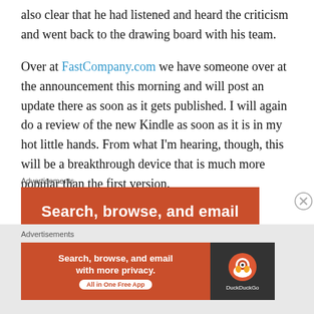also clear that he had listened and heard the criticism and went back to the drawing board with his team.
Over at FastCompany.com we have someone over at the announcement this morning and will post an update there as soon as it gets published. I will again do a review of the new Kindle as soon as it is in my hot little hands. From what I'm hearing, though, this will be a breakthrough device that is much more popular than the first version.
Advertisements
[Figure (other): Orange DuckDuckGo advertisement banner with text 'Search, browse, and email']
Advertisements
[Figure (other): Small DuckDuckGo advertisement banner: 'Search, browse, and email with more privacy. All in One Free App' with DuckDuckGo logo on dark right panel]